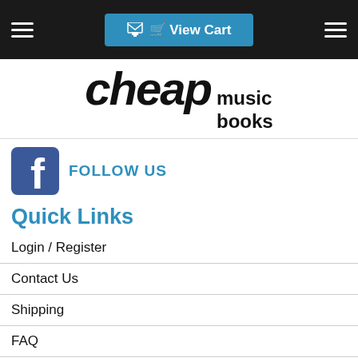View Cart
[Figure (logo): cheap music books logo in black italic bold text]
[Figure (logo): Facebook follow us icon and link]
Quick Links
Login / Register
Contact Us
Shipping
FAQ
Price Match Guarantee
10% VIP Discount
Gift Voucher
Returns and Sales Amendment Policy